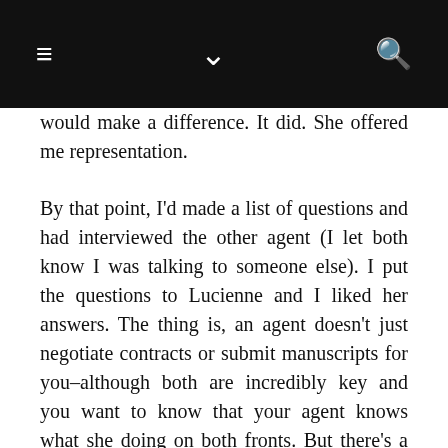≡  ∨  🔍
would make a difference. It did. She offered me representation.
By that point, I'd made a list of questions and had interviewed the other agent (I let both know I was talking to someone else). I put the questions to Lucienne and I liked her answers. The thing is, an agent doesn't just negotiate contracts or submit manuscripts for you–although both are incredibly key and you want to know that your agent knows what she doing on both fronts. But there's a lot more to it.
I wanted someone who would give me editorial feedback as well–not all agents give it and not all authors want it. I wanted someone with ties and contacts to a lot of editors and who really knew the industry and kept up with the changes and developments. I wanted someone who was